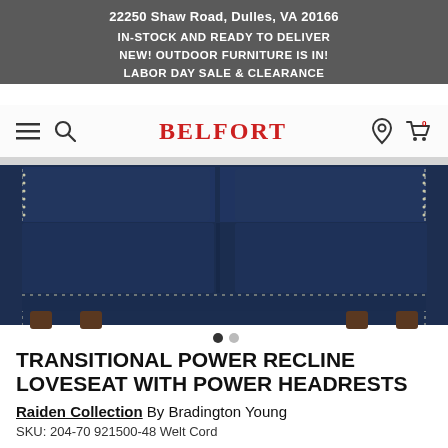22250 Shaw Road, Dulles, VA 20166
IN-STOCK AND READY TO DELIVER
NEW! OUTDOOR FURNITURE IS IN!
LABOR DAY SALE & CLEARANCE
[Figure (screenshot): Belfort Furniture website navigation bar with hamburger menu, search icon, BELFORT logo in red, location pin icon, and shopping cart icon with 0 items]
[Figure (photo): Dark navy blue leather transitional power reclining loveseat with nailhead trim detail, shown from a low front angle on white background. Two carousel navigation dots visible below.]
TRANSITIONAL POWER RECLINE LOVESEAT WITH POWER HEADRESTS
Raiden Collection By Bradington Young
SKU: 204-70 921500-48 Welt Cord